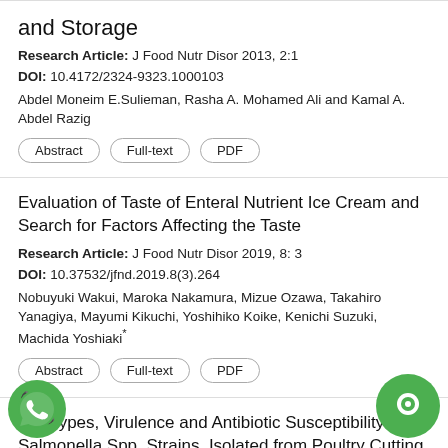and Storage
Research Article: J Food Nutr Disor 2013, 2:1
DOI: 10.4172/2324-9323.1000103
Abdel Moneim E.Sulieman, Rasha A. Mohamed Ali and Kamal A. Abdel Razig
Abstract
Full-text
PDF
Evaluation of Taste of Enteral Nutrient Ice Cream and Search for Factors Affecting the Taste
Research Article: J Food Nutr Disor 2019, 8: 3
DOI: 10.37532/jfnd.2019.8(3).264
Nobuyuki Wakui, Maroka Nakamura, Mizue Ozawa, Takahiro Yanagiya, Mayumi Kikuchi, Yoshihiko Koike, Kenichi Suzuki, Machida Yoshiaki*
Abstract
Full-text
PDF
Serotypes, Virulence and Antibiotic Susceptibility of Salmonella Spp. Strains, Isolated from Poultry Cutting Parts in Greater Tunis (Tunisia)
Research Article: J Food Disord 2017, 6:1